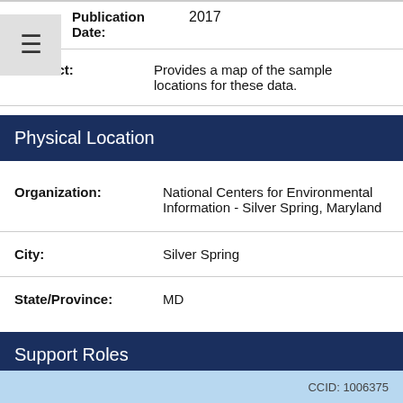Publication Date: 2017
Abstract: Provides a map of the sample locations for these data.
Physical Location
Organization: National Centers for Environmental Information - Silver Spring, Maryland
City: Silver Spring
State/Province: MD
Support Roles